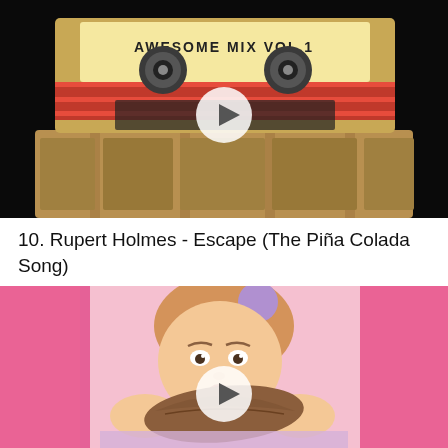[Figure (screenshot): Video thumbnail showing a cassette tape labeled 'Awesome Mix Vol. 1' against a dark background with a white circular play button overlay]
10. Rupert Holmes - Escape (The Piña Colada Song)
[Figure (screenshot): Video thumbnail showing a young girl with a purple bow headband holding a brown leaf shape near her face, pink background, with a white circular play button overlay]